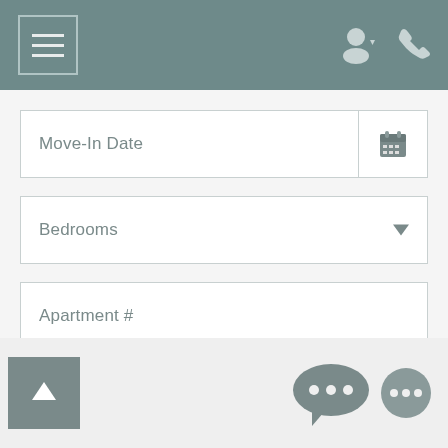Navigation header with menu button and account/phone icons
Move-In Date
Bedrooms
Apartment #
Max Rent
SEARCH
Back to top button and chat icons